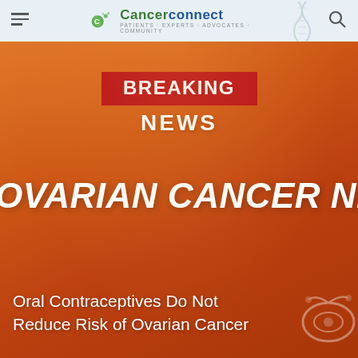CancerConnect — Patients · Experts · Advocates · Community
[Figure (illustration): Orange gradient background banner with 'BREAKING NEWS' in red box and 'OVARIAN CANCER NEWS' in large white italic text, with decorative ovary graphic bottom right]
Oral Contraceptives Do Not Reduce Risk of Ovarian Cancer